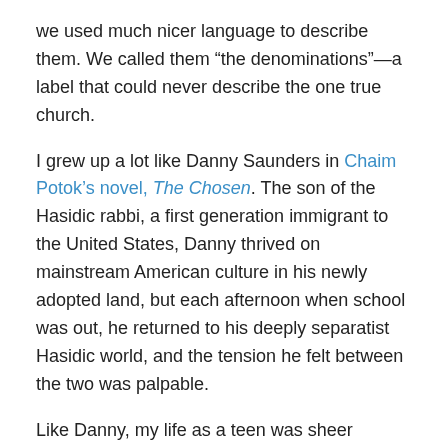we used much nicer language to describe them. We called them “the denominations”—a label that could never describe the one true church.
I grew up a lot like Danny Saunders in Chaim Potok’s novel, The Chosen. The son of the Hasidic rabbi, a first generation immigrant to the United States, Danny thrived on mainstream American culture in his newly adopted land, but each afternoon when school was out, he returned to his deeply separatist Hasidic world, and the tension he felt between the two was palpable.
Like Danny, my life as a teen was sheer paradox. I thrived in the public schools in San Angelo, Texas, but my church was a world apart. My parents forbade me to attend the school-sponsored dances or even to learn to dance, for that matter. But they required that our entire family attend